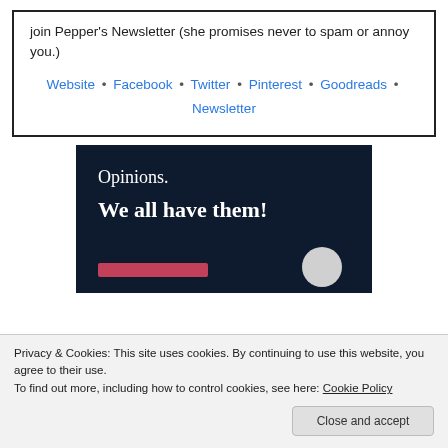join Pepper's Newsletter (she promises never to spam or annoy you.)
Website • Facebook • Twitter • Pinterest • Goodreads • Newsletter
[Figure (infographic): Dark navy background promotional image with text 'Opinions. We all have them!' in white serif font, a pink/red horizontal bar and a light grey circle at the bottom.]
Privacy & Cookies: This site uses cookies. By continuing to use this website, you agree to their use. To find out more, including how to control cookies, see here: Cookie Policy
Close and accept